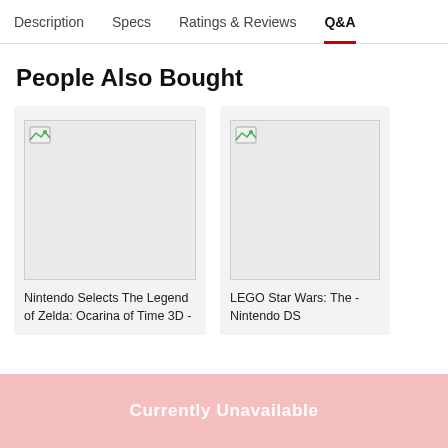Description | Specs | Ratings & Reviews | Q&A
People Also Bought
[Figure (screenshot): Product card with broken image placeholder for Nintendo Selects The Legend of Zelda: Ocarina of Time 3D]
Nintendo Selects The Legend of Zelda: Ocarina of Time 3D -
[Figure (screenshot): Product card with broken image placeholder for LEGO Star Wars: The - Nintendo DS]
LEGO Star Wars: The - Nintendo DS
Currently Unavailable